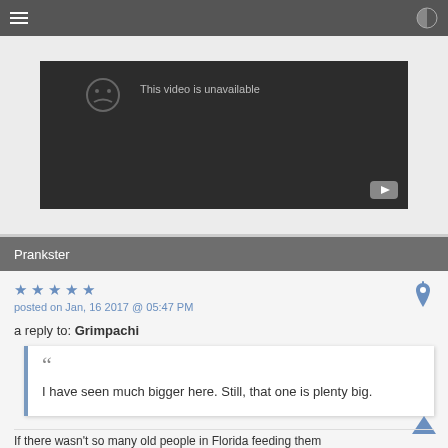Navigation bar with menu icon and contrast icon
[Figure (screenshot): YouTube video player showing 'This video is unavailable' message on dark background with YouTube button in corner]
Prankster
★★★★★ posted on Jan, 16 2017 @ 05:47 PM
a reply to: Grimpachi
I have seen much bigger here. Still, that one is plenty big.
If there wasn't so many old people in Florida feeding them